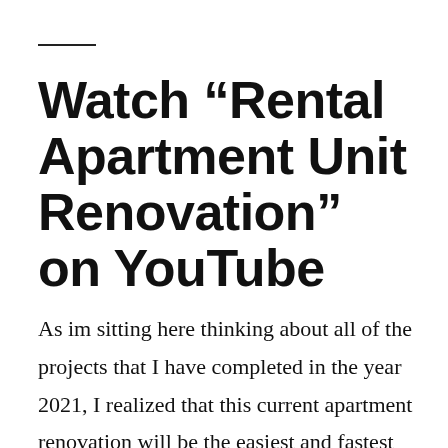Watch “Rental Apartment Unit Renovation” on YouTube
As im sitting here thinking about all of the projects that I have completed in the year 2021, I realized that this current apartment renovation will be the easiest and fastest to